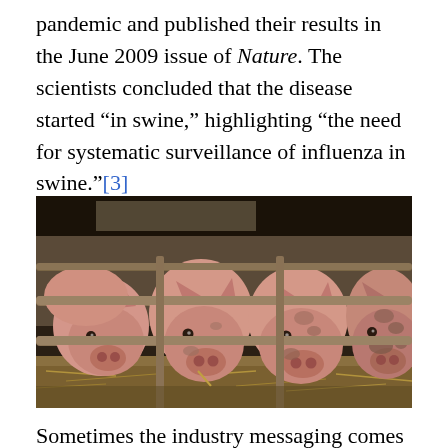pandemic and published their results in the June 2009 issue of Nature. The scientists concluded that the disease started “in swine,” highlighting “the need for systematic surveillance of influenza in swine.”[3]
[Figure (photo): Photograph of several pigs standing in a barn pen, looking forward through metal gate bars, with straw on the floor.]
Sometimes the industry messaging comes in a more